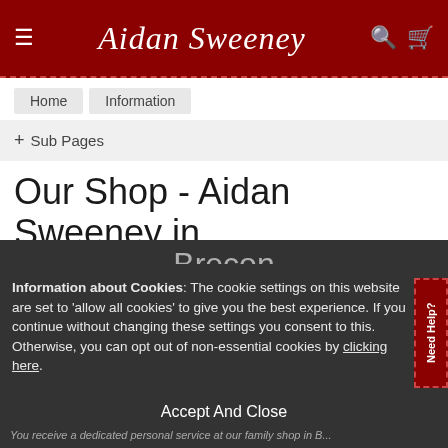Aidan Sweeney
Home
Information
+ Sub Pages
Our Shop - Aidan Sweeney in Brecon
Information about Cookies: The cookie settings on this website are set to 'allow all cookies' to give you the best experience. If you continue without changing these settings you consent to this. Otherwise, you can opt out of non-essential cookies by clicking here.
Need Help?
Specialist gentlemens outfitters plus ladieswear and ladieswear
Accept And Close
You receive a dedicated personal service at our family shop in Brecon, by email, by post and in person. We pride ourselves in caring for our customers. Whatever your requirements...